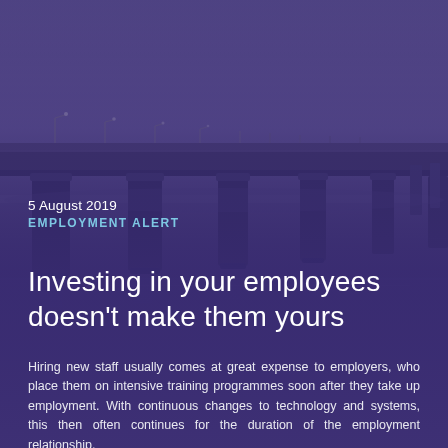[Figure (photo): Aerial/perspective photograph of a long bridge over water at dusk/twilight, with purple-toned sky and concrete pillars, overlaid with a dark purple semi-transparent gradient]
5 August 2019
EMPLOYMENT ALERT
Investing in your employees doesn't make them yours
Hiring new staff usually comes at great expense to employers, who place them on intensive training programmes soon after they take up employment. With continuous changes to technology and systems, this then often continues for the duration of the employment relationship.